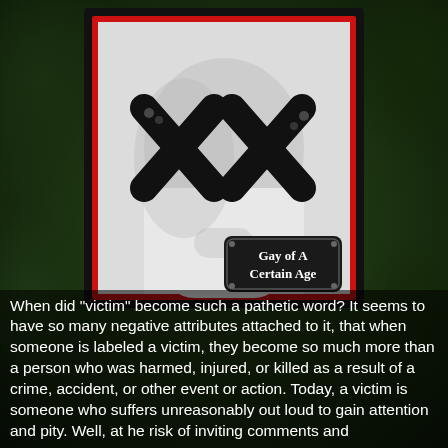[Figure (photo): Black and white photo of a person's face obscured by two large black X marks over the eyes, with a decorative black badge in the lower right reading 'Gay of A Certain Age'. The photo has a red border and black outer frame.]
When did "victim" become such a pathetic word?  It seems to have so many negative attributes attached to it, that when someone is labeled a victim, they become so much more than a person who was harmed, injured, or killed as a result of a crime, accident, or other event or action.  Today, a victim is someone who suffers unreasonably out loud to gain attention and pity.  Well, at he risk of inviting comments and